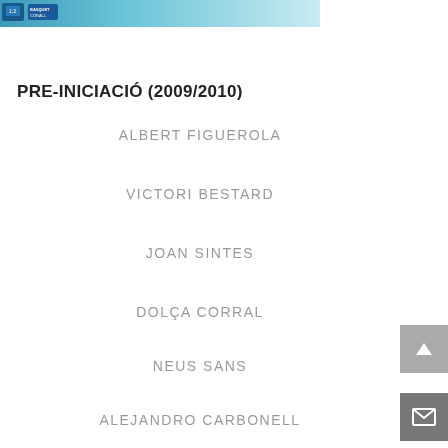[Figure (photo): Header image with light blue/teal background, appears to be a sports club photo or banner]
PRE-INICIACIÓ (2009/2010)
ALBERT FIGUEROLA
VICTORI BESTARD
JOAN SINTES
DOLÇA CORRAL
NEUS SANS
ALEJANDRO CARBONELL
BRUNO BARCELÓ